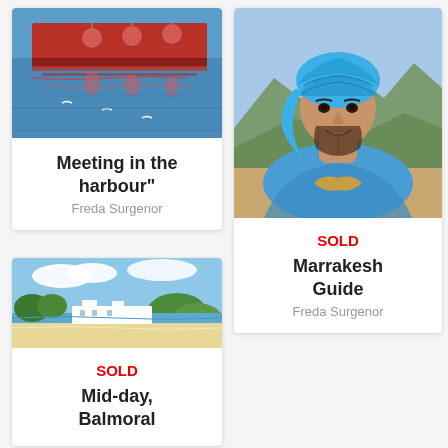[Figure (illustration): Painting of boats and their reflections in a harbour, red hull with pink buoys on blue water with seagulls]
Meeting in the harbour"
Freda Surgenor
[Figure (photo): Painting of a smiling man wearing a bright blue turban and robe, with mountains in the background]
SOLD
Marrakesh Guide
Freda Surgenor
[Figure (photo): Painting of a coastal beach scene with blue water, sandy beach, trees and white buildings]
SOLD
Mid-day, Balmoral